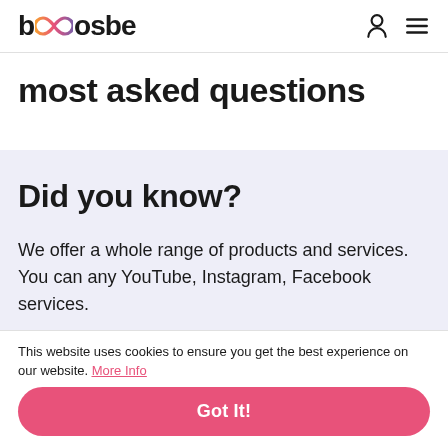boosbe (logo with infinity icon), navigation icons
most asked questions
Did you know?
We offer a whole range of products and services. You can any YouTube, Instagram, Facebook services.
This website uses cookies to ensure you get the best experience on our website. More Info
Got It!